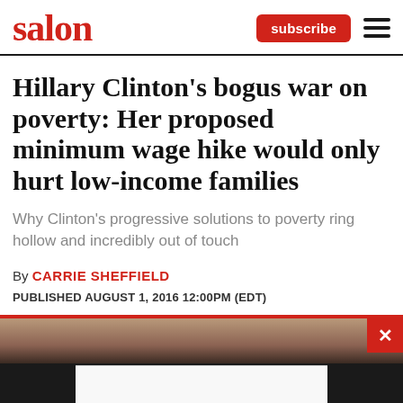salon
Hillary Clinton's bogus war on poverty: Her proposed minimum wage hike would only hurt low-income families
Why Clinton's progressive solutions to poverty ring hollow and incredibly out of touch
By CARRIE SHEFFIELD
PUBLISHED AUGUST 1, 2016 12:00PM (EDT)
[Figure (photo): Partial photo of a person with blond hair, partially visible at the bottom of the page, with a dark background and an advertisement block overlay]